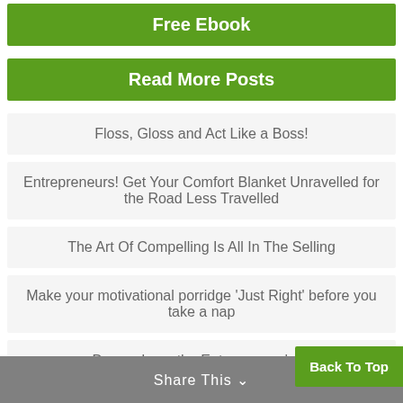Free Ebook
Read More Posts
Floss, Gloss and Act Like a Boss!
Entrepreneurs! Get Your Comfort Blanket Unravelled for the Road Less Travelled
The Art Of Compelling Is All In The Selling
Make your motivational porridge ‘Just Right’ before you take a nap
Do you have the Entrepreneur’ve?
Share This